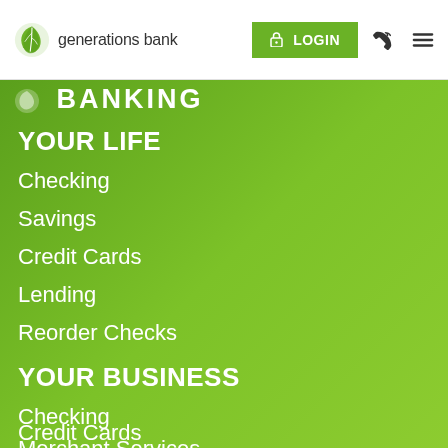generations bank | LOGIN
BANKING
YOUR LIFE
Checking
Savings
Credit Cards
Lending
Reorder Checks
YOUR BUSINESS
Checking
Credit Cards
Merchant Services